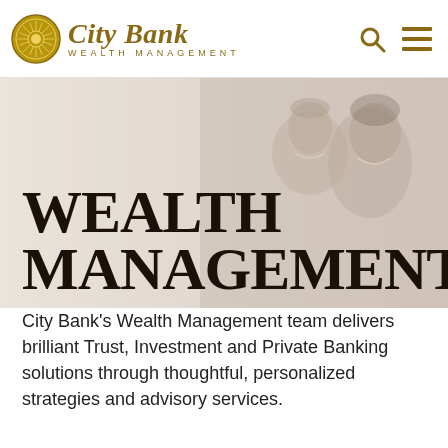City Bank WEALTH MANAGEMENT
[Figure (photo): Two smiling women, one older with short grey hair and one younger, laughing together against a light background — hero banner image]
WEALTH MANAGEMENT
City Bank's Wealth Management team delivers brilliant Trust, Investment and Private Banking solutions through thoughtful, personalized strategies and advisory services.